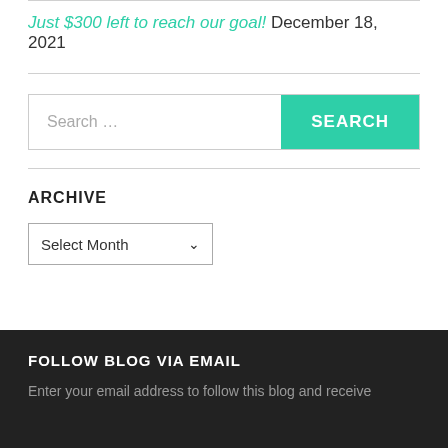Just $300 left to reach our goal! December 18, 2021
[Figure (screenshot): Search bar with teal SEARCH button]
ARCHIVE
Select Month dropdown
FOLLOW BLOG VIA EMAIL
Enter your email address to follow this blog and receive